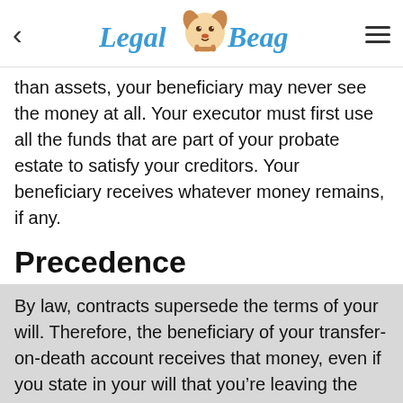Legal Beagle
than assets, your beneficiary may never see the money at all. Your executor must first use all the funds that are part of your probate estate to satisfy your creditors. Your beneficiary receives whatever money remains, if any.
Precedence
By law, contracts supersede the terms of your will. Therefore, the beneficiary of your transfer-on-death account receives that money, even if you state in your will that you’re leaving the account to someone else. The same holds true for all your beneficiaries by contract. If you name your spouse as the beneficiary of your life insurance policy, but state in